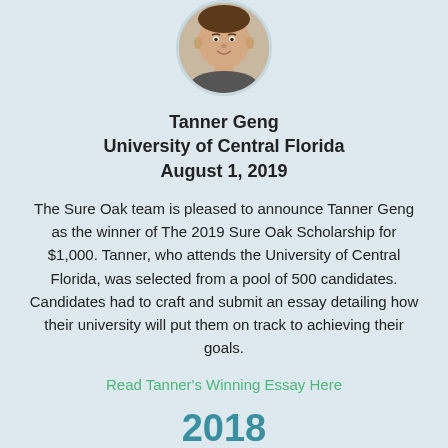[Figure (photo): Circular portrait photo of Tanner Geng, a young man smiling, cropped in a circle]
Tanner Geng
University of Central Florida
August 1, 2019
The Sure Oak team is pleased to announce Tanner Geng as the winner of The 2019 Sure Oak Scholarship for $1,000. Tanner, who attends the University of Central Florida, was selected from a pool of 500 candidates. Candidates had to craft and submit an essay detailing how their university will put them on track to achieving their goals.
Read Tanner's Winning Essay Here
2018